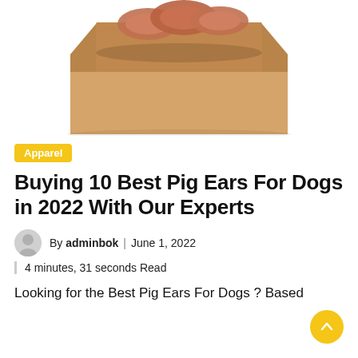[Figure (photo): Product photo: pig ears in an open cardboard box, on a white background]
Apparel
Buying 10 Best Pig Ears For Dogs in 2022 With Our Experts
By adminbok | June 1, 2022
| 4 minutes, 31 seconds Read
Looking for the Best Pig Ears For Dogs ? Based